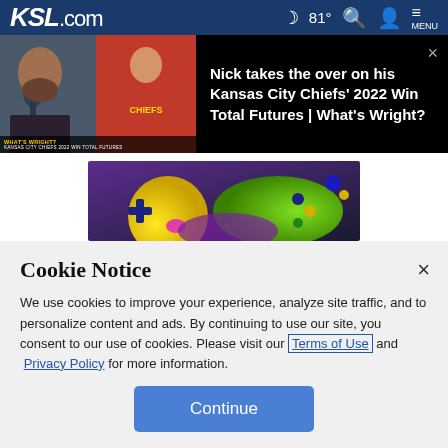KSL.com  81°  MENU
[Figure (screenshot): Video thumbnail showing a man speaking on left panel and Patrick Mahomes in Kansas City Chiefs red uniform on right panel, with overlay text 'WHAT'S WRIGHT?' and 'KANSAS CITY CHIEFS 2022 WIN TOTAL FUTURES']
Nick takes the over on his Kansas City Chiefs' 2022 Win Total Futures | What's Wright?
[Figure (photo): Colorful gaming controller advertisement with purple, yellow, and green colors on dark background]
Cookie Notice
We use cookies to improve your experience, analyze site traffic, and to personalize content and ads. By continuing to use our site, you consent to our use of cookies. Please visit our Terms of Use and Privacy Policy for more information.
Continue